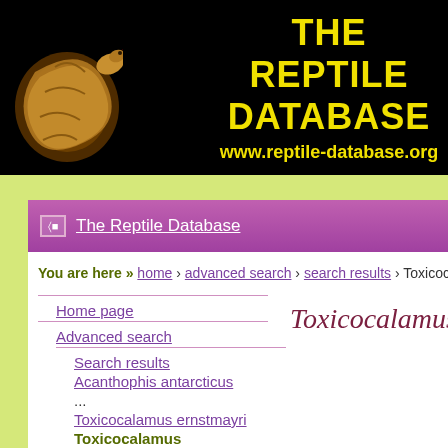[Figure (screenshot): The Reptile Database website screenshot showing header banner with snake illustration, navigation bar, breadcrumb, left navigation links, and species title page]
THE REPTILE DATABASE
www.reptile-database.org
The Reptile Database
You are here » home › advanced search › search results › Toxicocalamus goo
Home page
Advanced search
Search results
Acanthophis antarcticus
...
Toxicocalamus ernstmayri
Toxicocalamus goodenoughensis
Toxicocalamus grandis
Toxicocalamus gooo